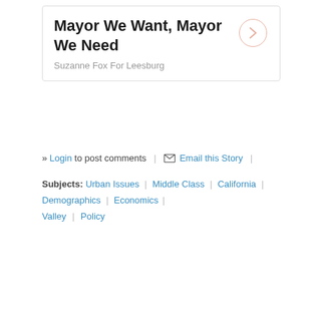Mayor We Want, Mayor We Need
Suzanne Fox For Leesburg
» Login to post comments | ✉ Email this Story |
Subjects: Urban Issues | Middle Class | California | Demographics | Economics | Valley | Policy